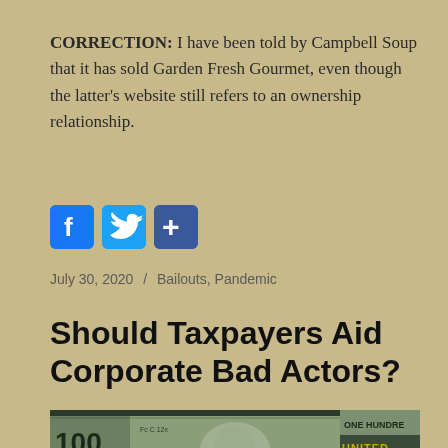CORRECTION: I have been told by Campbell Soup that it has sold Garden Fresh Gourmet, even though the latter's website still refers to an ownership relationship.
[Figure (infographic): Three social media share buttons: Facebook (blue f), Twitter (bird icon), and a share/plus button]
July 30, 2020 / Bailouts, Pandemic
Should Taxpayers Aid Corporate Bad Actors?
[Figure (photo): Partial image of a US $100 Federal Reserve Note showing '100', 'FEDERAL RESERVE NOTE', center portrait, and 'ONE HUNDRE' on the right]